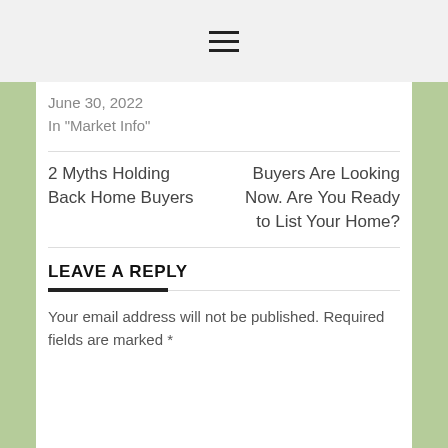≡ (hamburger menu icon)
June 30, 2022
In "Market Info"
2 Myths Holding Back Home Buyers
Buyers Are Looking Now. Are You Ready to List Your Home?
LEAVE A REPLY
Your email address will not be published. Required fields are marked *